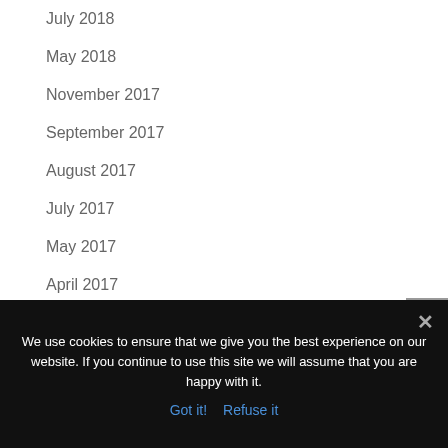July 2018
May 2018
November 2017
September 2017
August 2017
July 2017
May 2017
April 2017
March 2017
January 2017
December 2016
We use cookies to ensure that we give you the best experience on our website. If you continue to use this site we will assume that you are happy with it.
Got it!   Refuse it